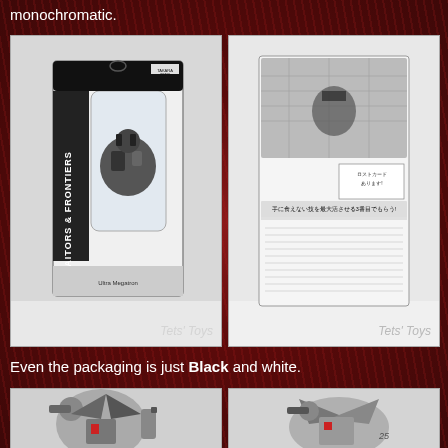monochromatic.
[Figure (photo): Front view of Transformers toy in black and white packaging (Takara Tomy), with 'Tets' Toys' watermark]
[Figure (photo): Back view of Transformers toy packaging in black and white, with Japanese text and 'Tets' Toys' watermark]
Even the packaging is just Black and white.
[Figure (photo): Close-up of Transformers toy figure showing robot mode, monochromatic black, white and gray]
[Figure (photo): Another angle of the Transformers toy figure in robot mode, monochromatic]